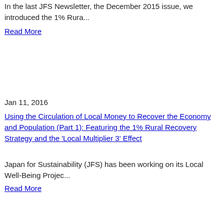In the last JFS Newsletter, the December 2015 issue, we introduced the 1% Rura...
Read More
Jan 11, 2016
Using the Circulation of Local Money to Recover the Economy and Population (Part 1): Featuring the 1% Rural Recovery Strategy and the 'Local Multiplier 3' Effect
Japan for Sustainability (JFS) has been working on its Local Well-Being Projec...
Read More